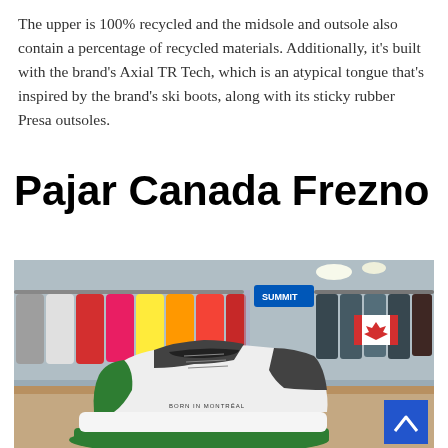The upper is 100% recycled and the midsole and outsole also contain a percentage of recycled materials. Additionally, it's built with the brand's Axial TR Tech, which is an atypical tongue that's inspired by the brand's ski boots, along with its sticky rubber Presa outsoles.
Pajar Canada Frezno
[Figure (photo): Photo of a white, dark grey, and green Pajar Canada Frezno sneaker displayed on a table at what appears to be a trade show, with colorful jackets hanging on racks in the background and a Canadian flag visible.]